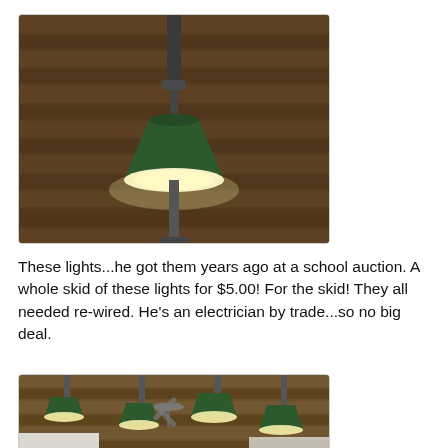[Figure (photo): Close-up photo of a green industrial barn-style pendant light hanging from a pipe mount, against a wood-plank wall background.]
These lights...he got them years ago at a school auction. A whole skid of these lights for $5.00! For the skid! They all needed re-wired. He’s an electrician by trade...so no big deal.
[Figure (photo): Wide-angle photo of a room ceiling showing multiple green industrial pendant lights hanging from wooden planks, with a ceiling fan visible.]